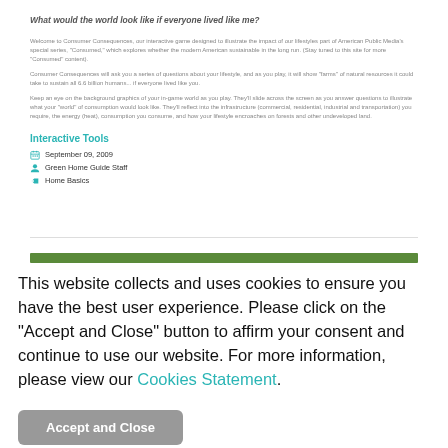What would the world look like if everyone lived like me?
Welcome to Consumer Consequences, our interactive game designed to illustrate the impact of our lifestyles part of American Public Media's special series, "Consumed," which explores whether the modern American sustainable in the long run. (Stay tuned to this site for more "Consumed" content).
Consumer Consequences will ask you a series of questions about your lifestyle, and as you play, it will show "farms" of natural resources it could take to sustain all 6.6 billion humans... if everyone lived like you.
Keep an eye on the background graphics of your in-game world as you play. They'll slide across the screen as you answer questions to illustrate what your "world" of consumption would look like. They'll reflect into the infrastructure (commercial, residential, industrial and transportation) you require, the energy (heat), consumption you consume, and how your lifestyle encroaches on forests and other undeveloped land.
Interactive Tools
September 09, 2009
Green Home Guide Staff
Home Basics
This website collects and uses cookies to ensure you have the best user experience. Please click on the "Accept and Close" button to affirm your consent and continue to use our website. For more information, please view our Cookies Statement.
Accept and Close